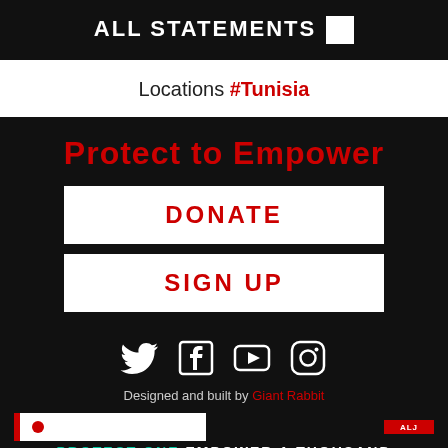ALL STATEMENTS +
Locations #Tunisia
Protect to Empower
DONATE
SIGN UP
[Figure (infographic): Social media icons: Twitter, Facebook, YouTube, Instagram]
Designed and built by Giant Rabbit
PROTECT ONE EMPOWER A THOUSAND